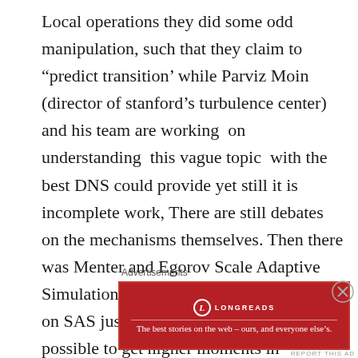Local operations they did some odd manipulation, such that they claim to “predict transition’ while Parviz Moin (director of stanford’s turbulence center) and his team are working on understanding this vague topic with the best DNS could provide yet still it is incomplete work, There are still debates on the mechanisms themselves. Then there was Menter and Egorov Scale Adaptive Simulation – I will dedicate another post on SAS just to describe why it is not possible to get higher moments in validation with a model which in essence is an EVM that models ALL turbulence. I bet my life you have never used it, The pictures are not even so
Advertisements
[Figure (other): Longreads advertisement banner with red background, Longreads logo and tagline: The best stories on the web – ours, and everyone else’s.]